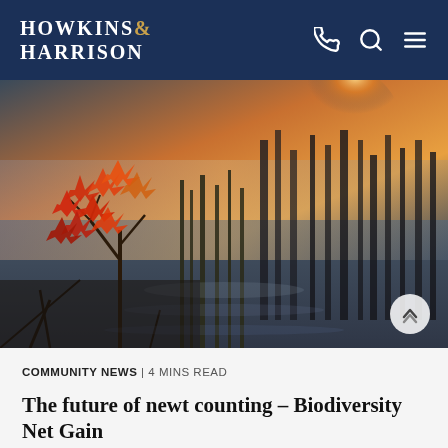HOWKINS & HARRISON
[Figure (photo): Autumn wetland scene with red and orange maple leaves in the foreground, misty golden light over a pond with tall reeds and grasses in the background]
COMMUNITY NEWS | 4 MINS READ
The future of newt counting – Biodiversity Net Gain